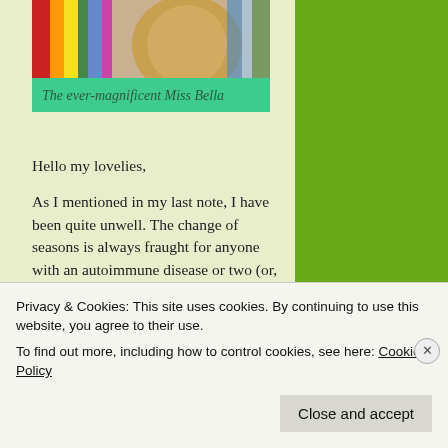[Figure (photo): Photo of a cat named Miss Bella with colorful objects in background]
The ever-magnificent Miss Bella
Hello my lovelies,
As I mentioned in my last note, I have been quite unwell. The change of seasons is always fraught for anyone with an autoimmune disease or two (or, in my case, six :/). The fluctuations in temperature from the daytime to the night seem to set one's immune system on high alert and it goes off looking for things to kill.
Privacy & Cookies: This site uses cookies. By continuing to use this website, you agree to their use.
To find out more, including how to control cookies, see here: Cookie Policy